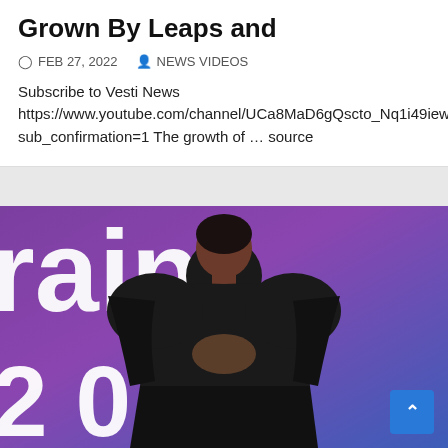Grown By Leaps and
FEB 27, 2022   NEWS VIDEOS
Subscribe to Vesti News https://www.youtube.com/channel/UCa8MaD6gQscto_Nq1i49iew?sub_confirmation=1 The growth of … source
[Figure (photo): A woman in a black ruffled dress with a cutout, posing in front of a purple/blue event backdrop with large white letters 'rain' and numbers '2 0']